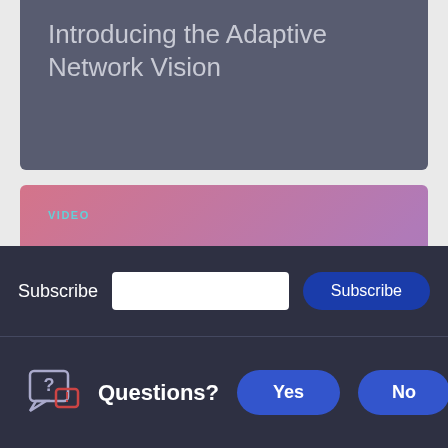Introducing the Adaptive Network Vision
[Figure (screenshot): Video card with pink-to-purple gradient background showing VIDEO label and title 'The Adaptive Network - Mastering Complexity']
Subscribe
Subscribe
Questions?
Yes
No